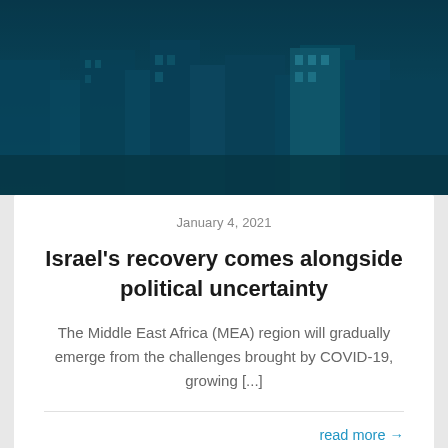[Figure (photo): Aerial view of a city with buildings and streets, rendered in dark teal/blue overlay tone]
January 4, 2021
Israel's recovery comes alongside political uncertainty
The Middle East Africa (MEA) region will gradually emerge from the challenges brought by COVID-19, growing [...]
read more →